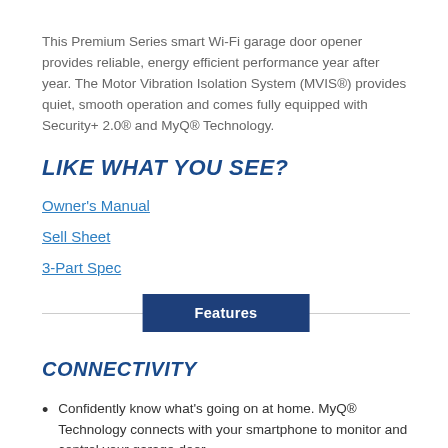This Premium Series smart Wi-Fi garage door opener provides reliable, energy efficient performance year after year. The Motor Vibration Isolation System (MVIS®) provides quiet, smooth operation and comes fully equipped with Security+ 2.0® and MyQ® Technology.
LIKE WHAT YOU SEE?
Owner's Manual
Sell Sheet
3-Part Spec
[Figure (other): A horizontal tab bar with a navy blue 'Features' button centered on a thin gray horizontal line]
CONNECTIVITY
Confidently know what's going on at home. MyQ® Technology connects with your smartphone to monitor and control your garage door